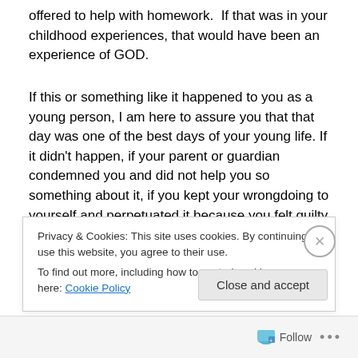offered to help with homework.  If that was in your childhood experiences, that would have been an experience of GOD.
If this or something like it happened to you as a young person, I am here to assure you that that day was one of the best days of your young life. If it didn't happen, if your parent or guardian condemned you and did not help you so something about it, if you kept your wrongdoing to yourself and perpetuated it because you felt guilty and
Privacy & Cookies: This site uses cookies. By continuing to use this website, you agree to their use.
To find out more, including how to control cookies, see here: Cookie Policy
Close and accept
Follow